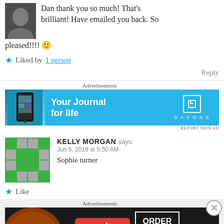Dan thank you so much! That's brilliant! Have emailed you back. So pleased!!!! 🙂
★ Liked by 1 person
Reply
Advertisements
[Figure (illustration): Advertisement banner for DAVONE 'Your Journal for life' app, blue background with phone image on left and DAVONE logo on right]
REPORT THIS AD
KELLY MORGAN says:
Jun 5, 2019 at 5:50 AM
Sophie turner
★ Like
Advertisements
[Figure (illustration): Seamless food delivery advertisement with pizza image, seamless logo in red, and ORDER NOW button, dark background]
REPORT THIS AD